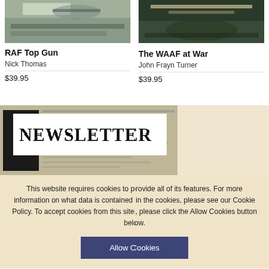[Figure (photo): Book cover image for RAF Top Gun (left column, cropped top)]
RAF Top Gun
Nick Thomas
$39.95
[Figure (photo): Book cover image for The WAAF at War by John Frayn Turner (right column, cropped top)]
The WAAF at War
John Frayn Turner
$39.95
[Figure (photo): Newsletter promotional image showing a newspaper/newsletter with bold NEWSLETTER text on a white card overlay]
This website requires cookies to provide all of its features. For more information on what data is contained in the cookies, please see our Cookie Policy. To accept cookies from this site, please click the Allow Cookies button below.
Allow Cookies